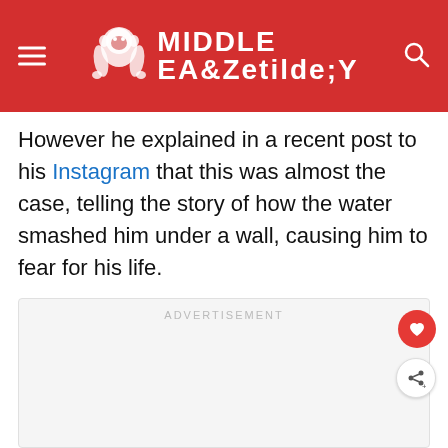Middle Easy
However he explained in a recent post to his Instagram that this was almost the case, telling the story of how the water smashed him under a wall, causing him to fear for his life.
[Figure (other): Advertisement placeholder block with label ADVERTISEMENT]